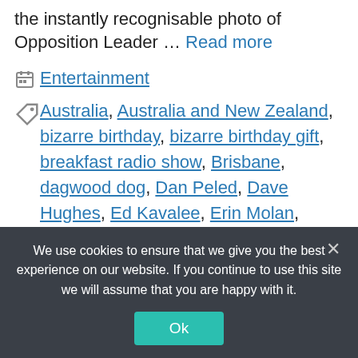the instantly recognisable photo of Opposition Leader … Read more
Entertainment
Australia, Australia and New Zealand, bizarre birthday, bizarre birthday gift, breakfast radio show, Brisbane, dagwood dog, Dan Peled, Dave Hughes, Ed Kavalee, Erin Molan, federal politican, morning show, national attention, national politician, newswire-news, Oceania, personal birthday
We use cookies to ensure that we give you the best experience on our website. If you continue to use this site we will assume that you are happy with it.